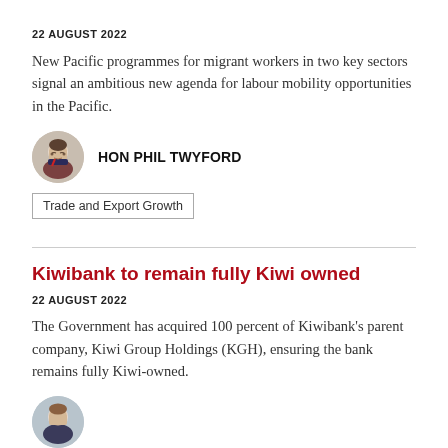22 AUGUST 2022
New Pacific programmes for migrant workers in two key sectors signal an ambitious new agenda for labour mobility opportunities in the Pacific.
[Figure (photo): Circular headshot photo of Hon Phil Twyford]
HON PHIL TWYFORD
Trade and Export Growth
Kiwibank to remain fully Kiwi owned
22 AUGUST 2022
The Government has acquired 100 percent of Kiwibank's parent company, Kiwi Group Holdings (KGH), ensuring the bank remains fully Kiwi-owned.
[Figure (photo): Circular headshot photo of a person (partially visible at bottom)]